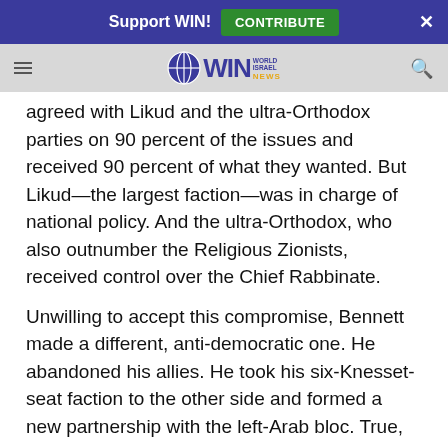Support WIN! CONTRIBUTE ×
WIN World Israel News (logo/navbar)
agreed with Likud and the ultra-Orthodox parties on 90 percent of the issues and received 90 percent of what they wanted. But Likud—the largest faction—was in charge of national policy. And the ultra-Orthodox, who also outnumber the Religious Zionists, received control over the Chief Rabbinate.
Unwilling to accept this compromise, Bennett made a different, anti-democratic one. He abandoned his allies. He took his six-Knesset-seat faction to the other side and formed a new partnership with the left-Arab bloc. True, his voters and their voters only agree on 10 percent of the issues. But conceding nearly everything of importance for a title was worth the sacrifice.
Bennett's betrayal of principle for position made him the most hated politician in Israel among his spurned former